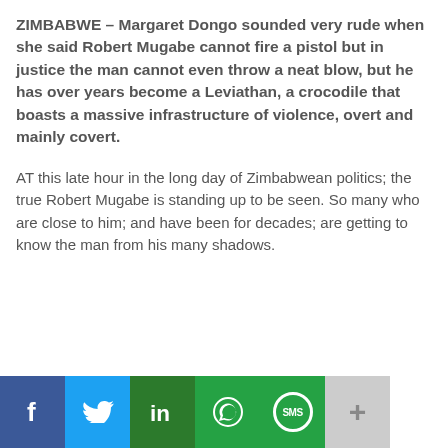ZIMBABWE – Margaret Dongo sounded very rude when she said Robert Mugabe cannot fire a pistol but in justice the man cannot even throw a neat blow, but he has over years become a Leviathan, a crocodile that boasts a massive infrastructure of violence, overt and mainly covert.
AT this late hour in the long day of Zimbabwean politics; the true Robert Mugabe is standing up to be seen. So many who are close to him; and have been for decades; are getting to know the man from his many shadows.